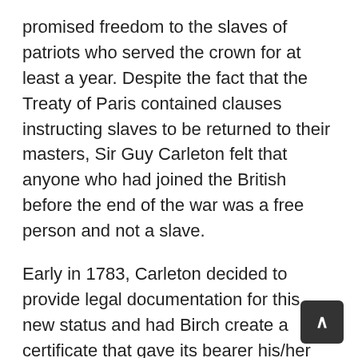promised freedom to the slaves of patriots who served the crown for at least a year. Despite the fact that the Treaty of Paris contained clauses instructing slaves to be returned to their masters, Sir Guy Carleton felt that anyone who had joined the British before the end of the war was a free person and not a slave.
Early in 1783, Carleton decided to provide legal documentation for this new status and had Birch create a certificate that gave its bearer his/her freedom and the right to go to “Nova Scotia, or wherever else he may think proper”. It cited the names of the British officers who had issued the initial offers of emancipation and gave permission for the certificate holder to leave New York. The final touch was Brigadier General Birch’s signature. But with Birch’s departure, it fell to Thomas Musgrave to issue emancipation documents –